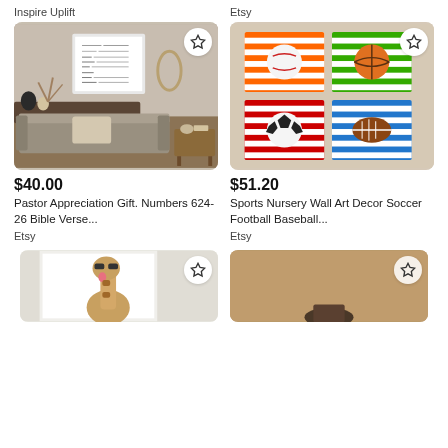Inspire Uplift
Etsy
[Figure (photo): Living room scene with a framed Hebrew text poster on the wall, a sofa and coffee table]
[Figure (photo): Four colorful striped panels with sports balls: baseball, basketball, soccer ball, football]
$40.00
Pastor Appreciation Gift. Numbers 624-26 Bible Verse...
Etsy
$51.20
Sports Nursery Wall Art Decor Soccer Football Baseball...
Etsy
[Figure (photo): Partial view of a framed illustration of a giraffe with sunglasses]
[Figure (photo): Partial view of a product on kraft brown background]